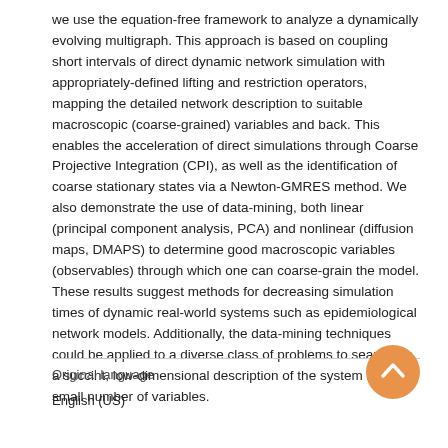we use the equation-free framework to analyze a dynamically evolving multigraph. This approach is based on coupling short intervals of direct dynamic network simulation with appropriately-defined lifting and restriction operators, mapping the detailed network description to suitable macroscopic (coarse-grained) variables and back. This enables the acceleration of direct simulations through Coarse Projective Integration (CPI), as well as the identification of coarse stationary states via a Newton-GMRES method. We also demonstrate the use of data-mining, both linear (principal component analysis, PCA) and nonlinear (diffusion maps, DMAPS) to determine good macroscopic variables (observables) through which one can coarse-grain the model. These results suggest methods for decreasing simulation times of dynamic real-world systems such as epidemiological network models. Additionally, the data-mining techniques could be applied to a diverse class of problems to search for a succint, low-dimensional description of the system in a small number of variables.
Original language
English (US)